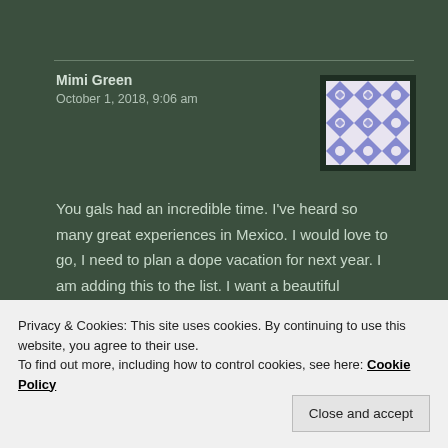Mimi Green
October 1, 2018, 9:06 am
[Figure (illustration): Avatar image: blue and white geometric tile pattern on dark background]
You gals had an incredible time. I've heard so many great experiences in Mexico. I would love to go, I need to plan a dope vacation for next year. I am adding this to the list. I want a beautiful destination, delicious food, culture and outdoor fun.
★ Like
Privacy & Cookies: This site uses cookies. By continuing to use this website, you agree to their use.
To find out more, including how to control cookies, see here: Cookie Policy
Close and accept